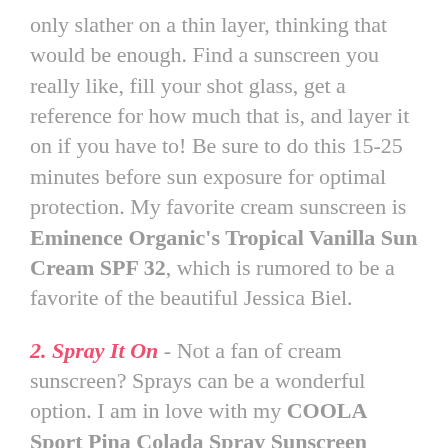only slather on a thin layer, thinking that would be enough. Find a sunscreen you really like, fill your shot glass, get a reference for how much that is, and layer it on if you have to! Be sure to do this 15-25 minutes before sun exposure for optimal protection. My favorite cream sunscreen is Eminence Organic's Tropical Vanilla Sun Cream SPF 32, which is rumored to be a favorite of the beautiful Jessica Biel.
2. Spray It On - Not a fan of cream sunscreen? Sprays can be a wonderful option. I am in love with my COOLA Sport Pina Colada Spray Sunscreen